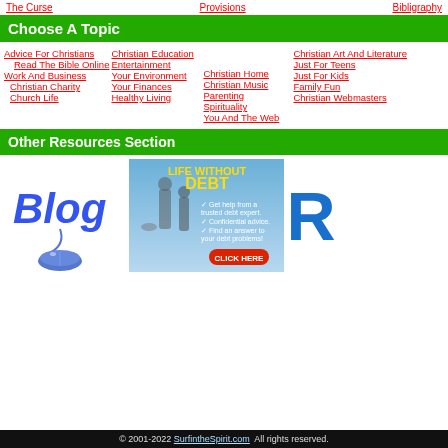The Curse
Provisions
Bibligraphy
Choose A Topic
Advice For Christians
Read The Bible Online
Work And Business
Christian Charity
Church Life
Christian Education
Entertainment
Your Environment
Your Finances
Healthy Living
Christian Home
Christian Music
Parenting
Spirituality
You And The Web
Christian Art And Literature
Just For Teens
Just For Kids
Family Fun
Christian Webmasters
Other Resources Section
[Figure (illustration): Blog logo with a mouse cable]
[Figure (illustration): Life Without Debt advertisement: Get help from a trusted debt expert. Confidential advice. Find an answer to your debt problems! CLICK HERE]
[Figure (illustration): Partial letter R in blue]
© 2001-2022 SurfintheSpirit.com  All rights reserved.